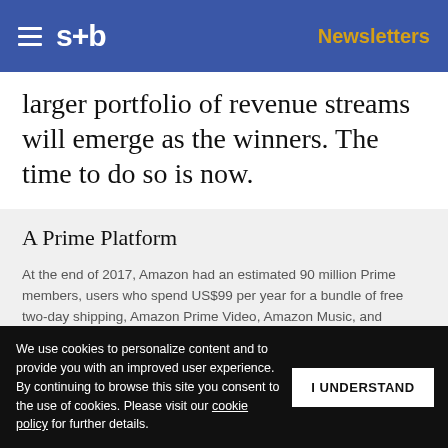s+b  Newsletters
larger portfolio of revenue streams will emerge as the winners. The time to do so is now.
A Prime Platform
At the end of 2017, Amazon had an estimated 90 million Prime members, users who spend US$99 per year for a bundle of free two-day shipping, Amazon Prime Video, Amazon Music, and assorted [...]ly twice as much as [...] by Consumer [...] ntially Amazon's fan [...] ned up a new
Get s+b's award-winning newsletter delivered to your inbox.
We use cookies to personalize content and to provide you with an improved user experience. By continuing to browse this site you consent to the use of cookies. Please visit our cookie policy for further details.